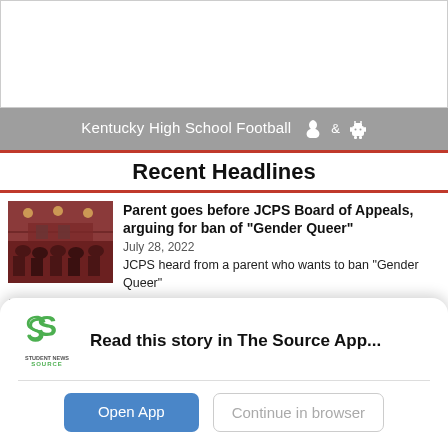[Figure (photo): Top image area, mostly white/blank with light border]
Kentucky High School Football  &
Recent Headlines
[Figure (photo): Thumbnail image of a school board meeting room with people seated]
Parent goes before JCPS Board of Appeals, arguing for ban of "Gender Queer"
July 28, 2022
JCPS heard from a parent who wants to ban "Gender Queer" from two JCPS school libraries, contending that the graphic novel is pornographic and inappropriate for schools
[Figure (logo): Student News Source logo - green S with Student News Source text below]
Read this story in The Source App...
Open App
Continue in browser